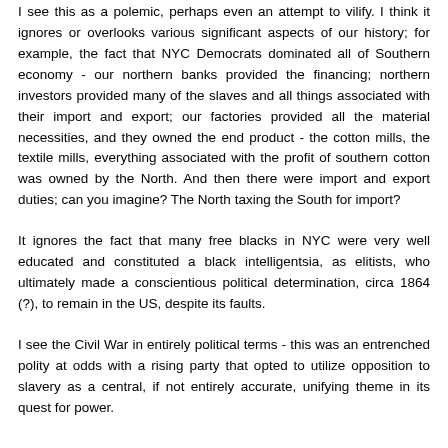I see this as a polemic, perhaps even an attempt to vilify. I think it ignores or overlooks various significant aspects of our history; for example, the fact that NYC Democrats dominated all of Southern economy - our northern banks provided the financing; northern investors provided many of the slaves and all things associated with their import and export; our factories provided all the material necessities, and they owned the end product - the cotton mills, the textile mills, everything associated with the profit of southern cotton was owned by the North. And then there were import and export duties; can you imagine? The North taxing the South for import?
It ignores the fact that many free blacks in NYC were very well educated and constituted a black intelligentsia, as elitists, who ultimately made a conscientious political determination, circa 1864 (?), to remain in the US, despite its faults.
I see the Civil War in entirely political terms - this was an entrenched polity at odds with a rising party that opted to utilize opposition to slavery as a central, if not entirely accurate, unifying theme in its quest for power.